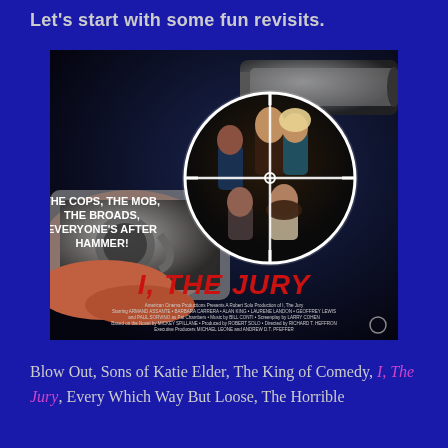Let's start with some fun revisits.
[Figure (photo): Movie poster for 'I, The Jury' — a hand holding a revolver aimed at the viewer, with a circular gun-sight crosshair showing a man in a leather jacket flanked by four women. Text reads: THE COPS, THE MOB, THE BROADS, EVERYONE'S AFTER HAMMER! Title 'I, THE JURY' in large red letters. Credits below in small text.]
Blow Out, Sons of Katie Elder, The King of Comedy, I, The Jury, Every Which Way But Loose, The Horrible